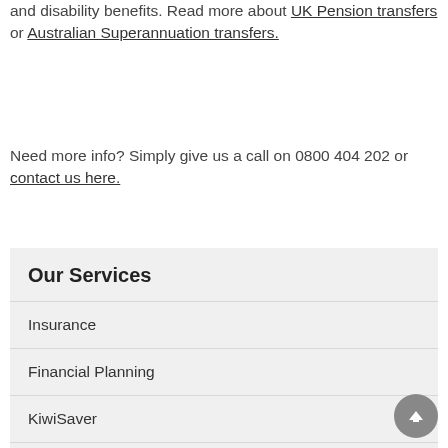and disability benefits. Read more about UK Pension transfers or Australian Superannuation transfers.
Need more info? Simply give us a call on 0800 404 202 or contact us here.
Our Services
Insurance
Financial Planning
KiwiSaver
Succession Planning
UK Pension Transfers
Australian Superannuation Transfers